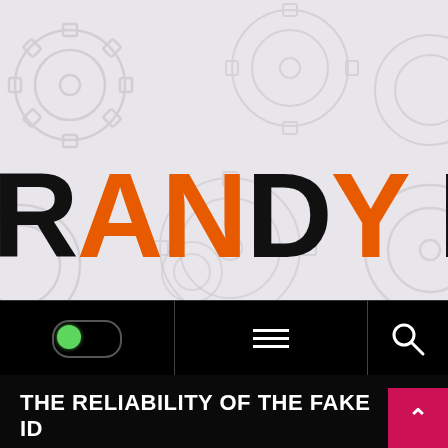[Figure (logo): RANDY BO... logo text in black and orange on a light grey gear-patterned background]
[Figure (screenshot): Navigation bar with toggle switch (green/on), hamburger menu icon, and search icon on black background]
THE RELIABILITY OF THE FAKE ID WEBSITES...